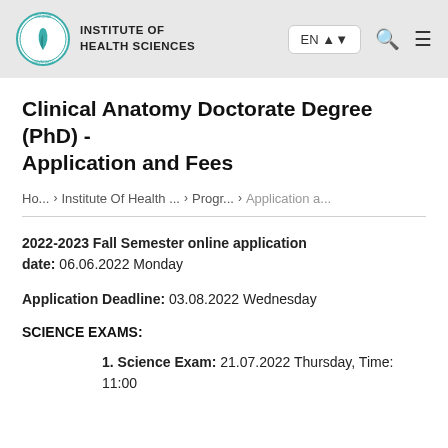INSTITUTE OF HEALTH SCIENCES | EN | [search] [menu]
Clinical Anatomy Doctorate Degree (PhD) - Application and Fees
Ho... Institute Of Health ... Progr... Application a...
2022-2023 Fall Semester online application date: 06.06.2022 Monday
Application Deadline: 03.08.2022 Wednesday
SCIENCE EXAMS:
1. Science Exam: 21.07.2022 Thursday, Time: 11:00